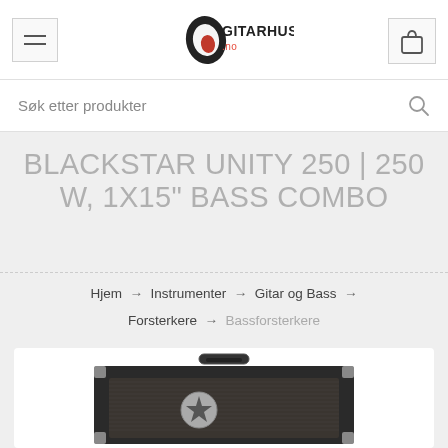Gitarhuset.no header with hamburger menu, logo, and cart icon
Søk etter produkter
BLACKSTAR UNITY 250 | 250 W, 1X15" BASS COMBO
Hjem → Instrumenter → Gitar og Bass → Forsterkere → Bassforsterkere
[Figure (photo): Blackstar Unity 250 bass combo amplifier, front view, dark grey/black tolex covering with metal corner guards, fabric grille with a star logo badge in center, carry handle on top]